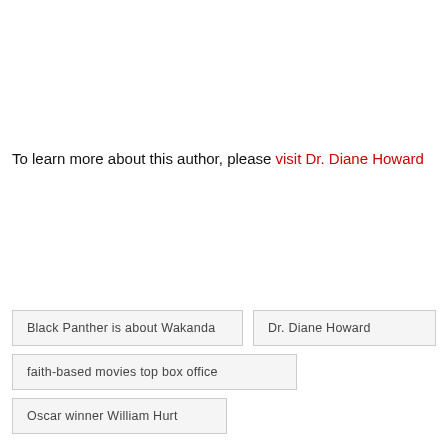To learn more about this author, please visit Dr. Diane Howard
Black Panther is about Wakanda
Dr. Diane Howard
faith-based movies top box office
Oscar winner William Hurt